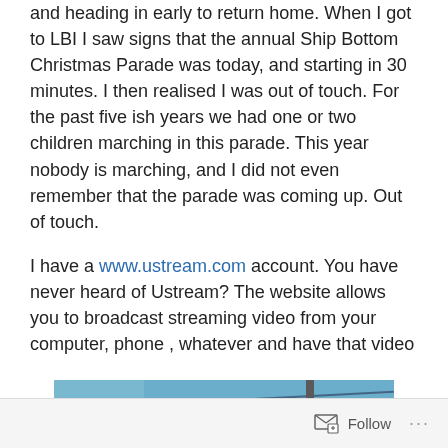and heading in early to return home. When I got to LBI I saw signs that the annual Ship Bottom Christmas Parade was today, and starting in 30 minutes. I then realised I was out of touch. For the past five ish years we had one or two children marching in this parade. This year nobody is marching, and I did not even remember that the parade was coming up. Out of touch.

I have a www.ustream.com account. You have never heard of Ustream? The website allows you to broadcast streaming video from your computer, phone , whatever and have that video viewable in realtime in the web. This link will take you to my Ustreampage where you can see the videos from today. I also shot this picture
[Figure (photo): Partial photo showing a blue sky with power lines and a utility pole, and the edge of a building on the left]
Follow ···